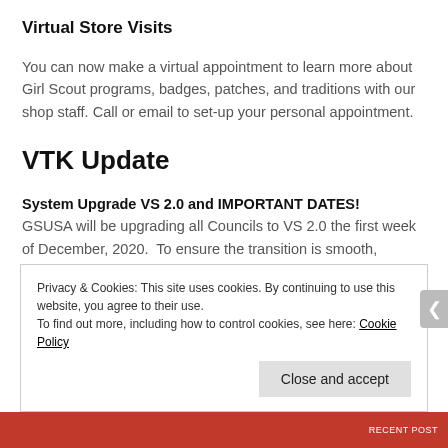Virtual Store Visits
You can now make a virtual appointment to learn more about Girl Scout programs, badges, patches, and traditions with our shop staff. Call or email to set-up your personal appointment.
VTK Update
System Upgrade VS 2.0 and IMPORTANT DATES!
GSUSA will be upgrading all Councils to VS 2.0 the first week of December, 2020.  To ensure the transition is smooth, GSUSA will turn off our current system starting on Nov 18th until the
Privacy & Cookies: This site uses cookies. By continuing to use this website, you agree to their use.
To find out more, including how to control cookies, see here: Cookie Policy